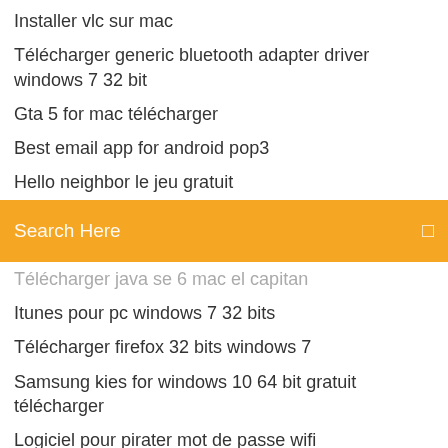Installer vlc sur mac
Télécharger generic bluetooth adapter driver windows 7 32 bit
Gta 5 for mac télécharger
Best email app for android pop3
Hello neighbor le jeu gratuit
[Figure (screenshot): Search bar with orange background and text 'Search Here']
Télécharger java se 6 mac el capitan
Itunes pour pc windows 7 32 bits
Télécharger firefox 32 bits windows 7
Samsung kies for windows 10 64 bit gratuit télécharger
Logiciel pour pirater mot de passe wifi
Application avoir plus de jaime sur facebook
Télécharger freemake video converter complete version gratis
Jeu de mario sonic en ligne gratuit
Internet explorer 10 windows 7 32 bit gratuit télécharger
Comment faire copier coller sur mac avec la souris